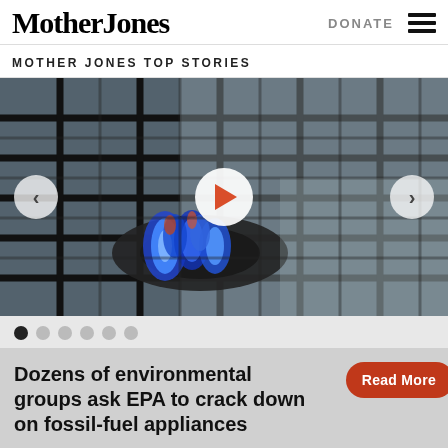Mother Jones
DONATE
MOTHER JONES TOP STORIES
[Figure (photo): Close-up photo of a gas stove burner with blue flames burning, dark metal grates visible, with navigation arrows and a play button overlay]
Dozens of environmental groups ask EPA to crack down on fossil-fuel appliances